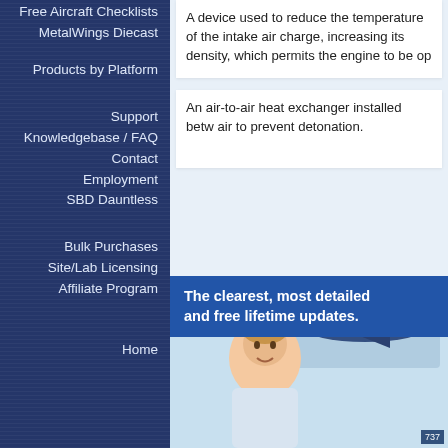Free Aircraft Checklists
MetalWings Diecast
Products by Platform
Support
Knowledgebase / FAQ
Contact
Employment
SBD Dauntless
Bulk Purchases
Site/Lab Licensing
Affiliate Program
Home
A device used to reduce the temperature of the intake air charge, increasing its density, which permits the engine to be op...
An air-to-air heat exchanger installed betw... air to prevent detonation.
The clearest, most detailed and free lifetime updates.
[Figure (photo): Young man smiling in front of an aircraft diagram illustration showing airplane with labeled components]